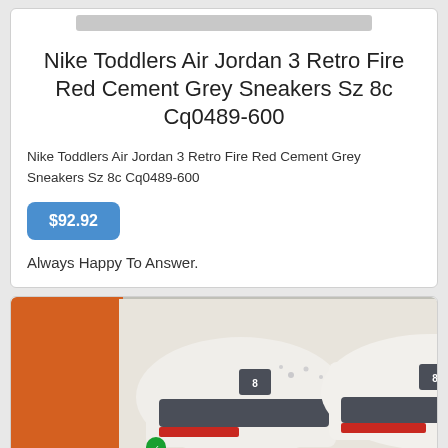[Figure (photo): Partial top image area visible at very top of page, grey rectangle]
Nike Toddlers Air Jordan 3 Retro Fire Red Cement Grey Sneakers Sz 8c Cq0489-600
Nike Toddlers Air Jordan 3 Retro Fire Red Cement Grey Sneakers Sz 8c Cq0489-600
$92.92
Always Happy To Answer.
[Figure (photo): Photo of Nike Air Jordan 3 Retro sneakers in white, dark grey cement, and red colorway, shown from above in their box. The shoes display the Air Jordan logo and the number 8 on the tongue.]